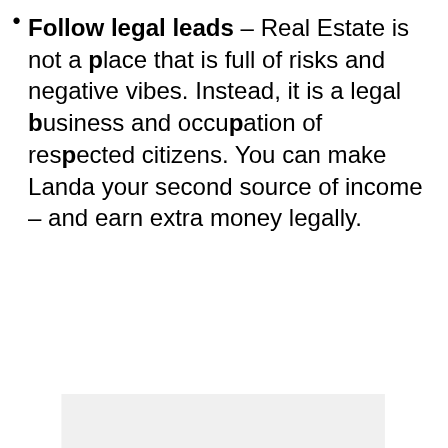Follow legal leads – Real Estate is not a place that is full of risks and negative vibes. Instead, it is a legal business and occupation of respected citizens. You can make Landa your second source of income – and earn extra money legally.
[Figure (other): Gray placeholder content area below the list item text]
[Figure (infographic): Advertisement banner at the bottom: Cookie Dough brand ad with text 'Childhood cancer didn't stop for COVID-19.' and cookies for kids' cancer 'GET BAKING' orange section. X close button visible. Milo logo on right.]